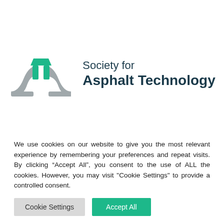[Figure (logo): Society for Asphalt Technology logo with stylized road/arrow graphic in grey and green, followed by text 'Society for Asphalt Technology']
[Figure (screenshot): Dark navy hamburger menu button (three horizontal lines) centered on a light grey navigation bar]
[Figure (screenshot): White search input box on light grey background]
We use cookies on our website to give you the most relevant experience by remembering your preferences and repeat visits. By clicking “Accept All”, you consent to the use of ALL the cookies. However, you may visit "Cookie Settings" to provide a controlled consent.
Cookie Settings
Accept All